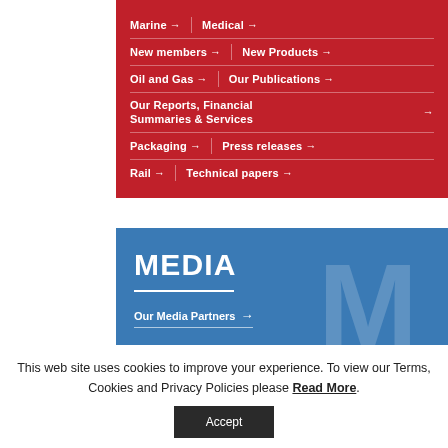Marine → Medical →
New members → New Products →
Oil and Gas → Our Publications →
Our Reports, Financial Summaries & Services →
Packaging → Press releases →
Rail → Technical papers →
[Figure (other): Blue MEDIA panel with 'Our Media Partners →' link and decorative background watermark]
This web site uses cookies to improve your experience. To view our Terms, Cookies and Privacy Policies please Read More.
Accept